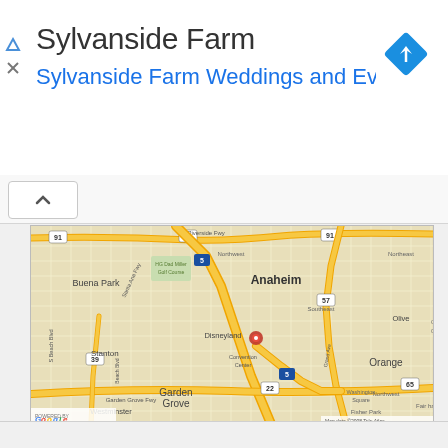Sylvanside Farm
Sylvanside Farm Weddings and Eve…
[Figure (map): Google Maps showing area around Anaheim, California with a red location marker near Disneyland. Map shows surrounding cities including Buena Park, Stanton, Garden Grove, Westminster, Orange, and Olive. Major highways visible include 91, 5, 57, 22, 39, 65. Map data ©2008 Tele Atlas.]